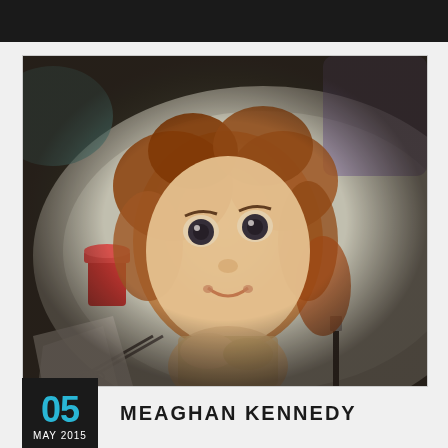[Figure (photo): A puppet head with curly reddish-brown hair, painted face with large eyes and a slight smile, lying on a workbench surrounded by craft supplies including scissors, paper, a red cup, and a knife.]
05 MAY 2015
MEAGHAN KENNEDY